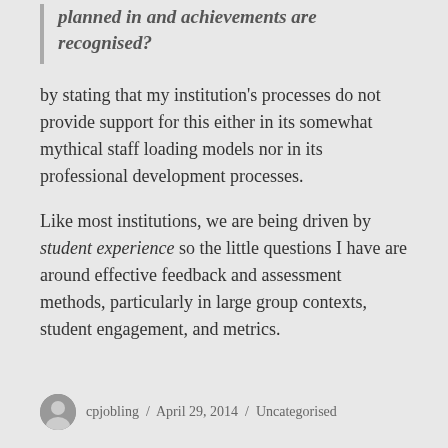planned in and achievements are recognised?
by stating that my institution's processes do not provide support for this either in its somewhat mythical staff loading models nor in its professional development processes.
Like most institutions, we are being driven by student experience so the little questions I have are around effective feedback and assessment methods, particularly in large group contexts, student engagement, and metrics.
cpjobling / April 29, 2014 / Uncategorised